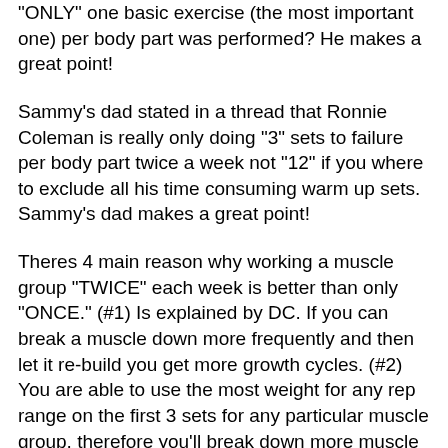"ONLY" one basic exercise (the most important one) per body part was performed? He makes a great point!
Sammy's dad stated in a thread that Ronnie Coleman is really only doing "3" sets to failure per body part twice a week not "12" if you where to exclude all his time consuming warm up sets. Sammy's dad makes a great point!
Theres 4 main reason why working a muscle group "TWICE" each week is better than only "ONCE." (#1) Is explained by DC. If you can break a muscle down more frequently and then let it re-build you get more growth cycles. (#2) You are able to use the most weight for any rep range on the first 3 sets for any particular muscle group, therefore you'll break down more muscle tissue with 3 sets than training a muscle once a